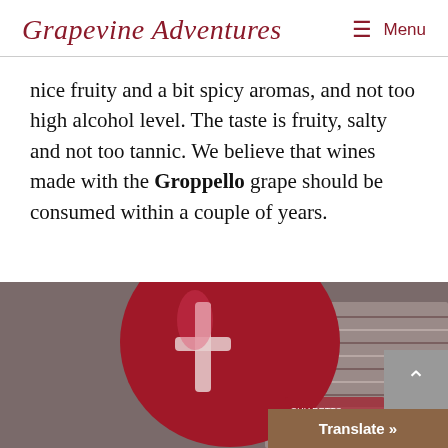Grapevine Adventures  ≡ Menu
nice fruity and a bit spicy aromas, and not too high alcohol level. The taste is fruity, salty and not too tannic. We believe that wines made with the Groppello grape should be consumed within a couple of years.
[Figure (photo): Close-up photo of a red wine bottle capsule labeled 'CHIARETTO' resting on a woven surface]
Translate »